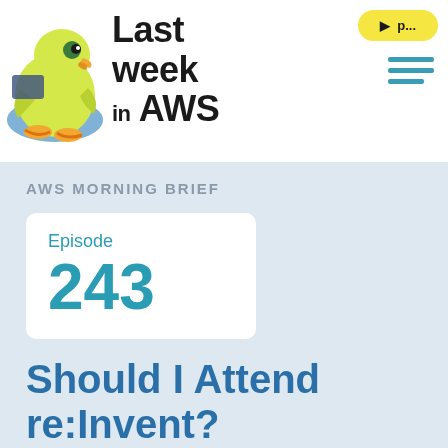Last week in AWS
AWS MORNING BRIEF
Episode 243
Should I Attend re:Invent?
06.25.2021